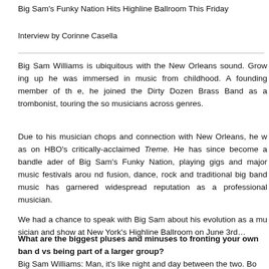Big Sam's Funky Nation Hits Highline Ballroom This Friday
Interview by Corinne Casella
Big Sam Williams is ubiquitous with the New Orleans sound. Growing up he was immersed in music from childhood. A founding member of the, he joined the Dirty Dozen Brass Band as a trombonist, touring the so musicians across genres.
Due to his musician chops and connection with New Orleans, he was on HBO’s critically-acclaimed Treme. He has since become a bandleader of Big Sam's Funky Nation, playing gigs and major music festivals around fusion, dance, rock and traditional big band music has garnered widespread reputation as a professional musician.
We had a chance to speak with Big Sam about his evolution as a musician and show at New York’s Highline Ballroom on June 3rd…
What are the biggest pluses and minuses to fronting your own band vs being part of a larger group?
Big Sam Williams: Man, it’s like night and day between the two. Bo